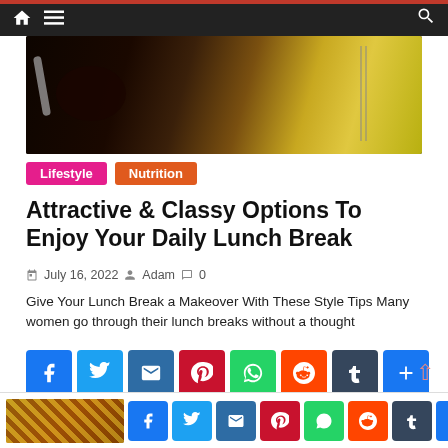Navigation bar with home, menu, and search icons
[Figure (photo): Dark food photo showing a bowl and a yellow notepad with green design]
Lifestyle  Nutrition
Attractive & Classy Options To Enjoy Your Daily Lunch Break
July 16, 2022  Adam  0
Give Your Lunch Break a Makeover With These Style Tips Many women go through their lunch breaks without a thought
[Figure (infographic): Social share buttons: Facebook, Twitter, Email, Pinterest, WhatsApp, Reddit, Tumblr, More]
[Figure (infographic): Bottom sticky social share bar: Facebook, Twitter, Email, Pinterest, WhatsApp, Reddit, Tumblr, More]
Greeting Cards – What Is the Future?